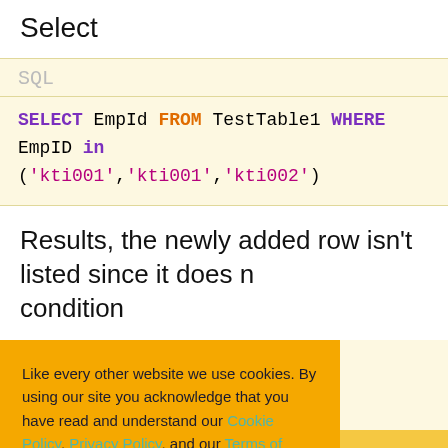Select
SQL
SELECT EmpId FROM TestTable1 WHERE EmpID in ('kti001','kti001','kti002')
Results, the newly added row isn't listed since it does not match the condition
Like every other website we use cookies. By using our site you acknowledge that you have read and understand our Cookie Policy, Privacy Policy, and our Terms of Service. Learn more
Ask me later
Decline
Allow cookies